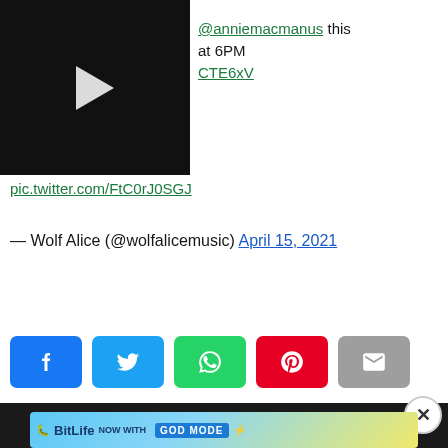[Figure (screenshot): Video thumbnail showing a performer at a microphone with a play button overlay, dark background]
@anniemacmanus this at 6PM CTE6xV pic.twitter.com/FtC0rJ0SGJ
— Wolf Alice (@wolfalicemusic) April 15, 2021
[Figure (screenshot): Social share buttons: Facebook, Twitter, WhatsApp, Pinterest, Email]
[Figure (screenshot): Dark promotional banner with text 'OPULAR' visible and a close button, plus a BitLife advertisement banner reading 'NOW WITH GOD MODE']